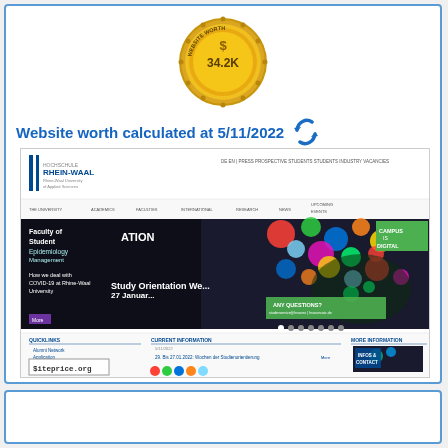[Figure (illustration): Gold medal/badge with 'WEBSITE WORTH $34.2K' text]
Website worth calculated at 5/11/2022
[Figure (screenshot): Screenshot of Hochschule Rhein-Waal university website (Rhine-Waal University of Applied Sciences) showing navigation, hero banner with colorful bokeh, and quicklinks/current information sections. Watermark: $iteprice.org]